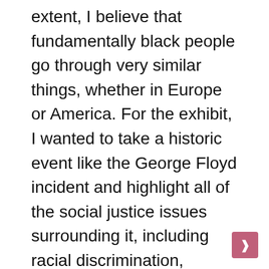extent, I believe that fundamentally black people go through very similar things, whether in Europe or America. For the exhibit, I wanted to take a historic event like the George Floyd incident and highlight all of the social justice issues surrounding it, including racial discrimination, inequality, and police brutality experienced by people of color. This particular topic is prevalent in Europe, especially in the UK where there is a lack of trust between the black community and the police, so I wanted to show it through my own unique perspective so everyone can relate to it. identify. For me, it’s about telling stories, highlighting issues, and helping to help build a more positive future where everyone is equal,